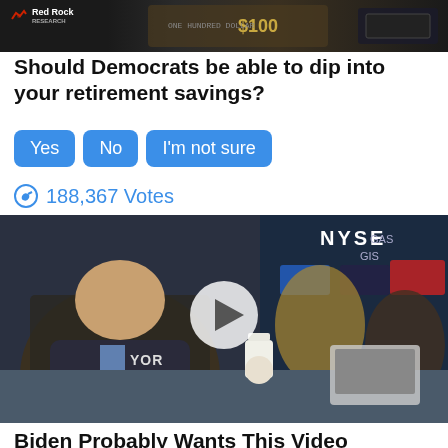[Figure (photo): Top banner image with Red Rock logo on dark background with money/currency graphic]
Should Democrats be able to dip into your retirement savings?
Yes
No
I'm not sure
188,367 Votes
[Figure (screenshot): Video thumbnail showing people at NYSE trading floor with play button overlay, YOR partial text visible]
Biden Probably Wants This Video Destroyed — Drastic Changes Happening To The US